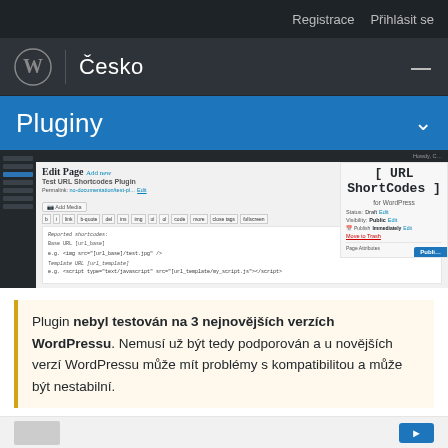Registrace  Přihlásit se
[Figure (screenshot): WordPress Česko navigation bar with WordPress logo]
Pluginy
[Figure (screenshot): WordPress admin Edit Page screenshot showing URL ShortCodes plugin interface with code examples]
Plugin nebyl testován na 3 nejnovějších verzích WordPressu. Nemusí už být tedy podporován a u novějších verzí WordPressu může mít problémy s kompatibilitou a může být nestabilní.